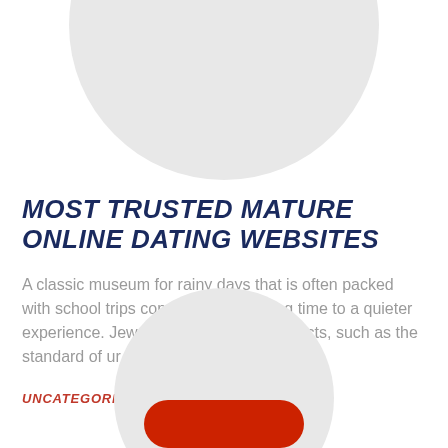[Figure (illustration): Large light gray circle partially cropped at the top of the page, serving as decorative background element]
MOST TRUSTED MATURE ONLINE DATING WEBSITES
A classic museum for rainy days that is often packed with school trips come close to closing time to a quieter experience. Jewellery and movable objects, such as the standard of ur…
UNCATEGORIZED
[Figure (illustration): Light gray circle partially visible at bottom of page with a red rounded rectangle button overlapping it]